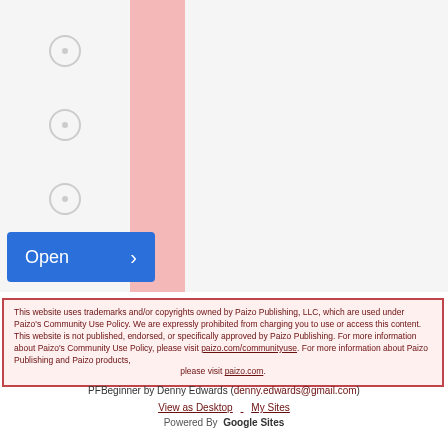[Figure (screenshot): Website UI showing a pink sidebar column on a light gray background with circular icon placeholders and a blue 'Open' button with a right arrow chevron.]
This website uses trademarks and/or copyrights owned by Paizo Publishing, LLC, which are used under Paizo's Community Use Policy. We are expressly prohibited from charging you to use or access this content. This website is not published, endorsed, or specifically approved by Paizo Publishing. For more information about Paizo's Community Use Policy, please visit paizo.com/communityuse. For more information about Paizo Publishing and Paizo products, please visit paizo.com.
PFBeginner by Denny Edwards (denny.edwards@gmail.com)
View as Desktop    My Sites
Powered By  Google Sites